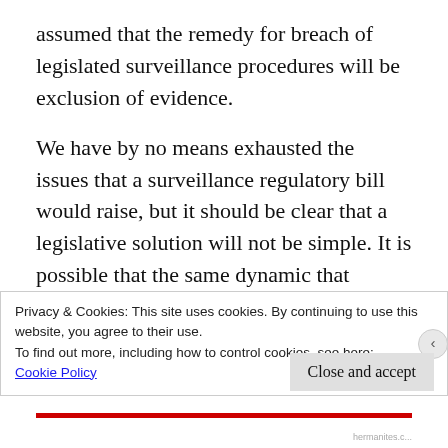assumed that the remedy for breach of legislated surveillance procedures will be exclusion of evidence.
We have by no means exhausted the issues that a surveillance regulatory bill would raise, but it should be clear that a legislative solution will not be simple. It is possible that the same dynamic that produced federal wiretapping legislation immediately following Katz could recur today. If the police feel that the
Privacy & Cookies: This site uses cookies. By continuing to use this website, you agree to their use.
To find out more, including how to control cookies, see here:
Cookie Policy
Close and accept